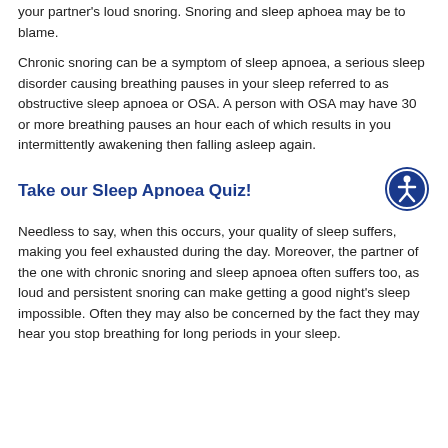your partner's loud snoring. Snoring and sleep aphoea may be to blame.
Chronic snoring can be a symptom of sleep apnoea, a serious sleep disorder causing breathing pauses in your sleep referred to as obstructive sleep apnoea or OSA. A person with OSA may have 30 or more breathing pauses an hour each of which results in you intermittently awakening then falling asleep again.
Take our Sleep Apnoea Quiz!
Needless to say, when this occurs, your quality of sleep suffers, making you feel exhausted during the day. Moreover, the partner of the one with chronic snoring and sleep apnoea often suffers too, as loud and persistent snoring can make getting a good night's sleep impossible. Often they may also be concerned by the fact they may hear you stop breathing for long periods in your sleep.